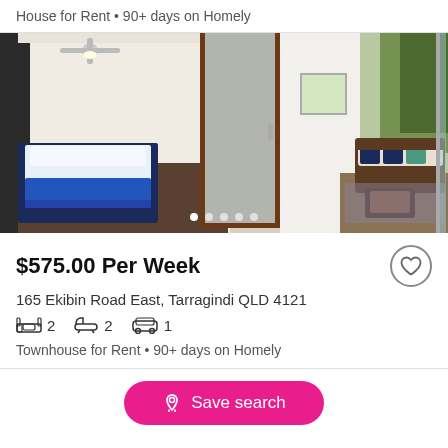House for Rent • 90+ days on Homely
[Figure (photo): Interior/exterior photo of a modern townhouse showing a bedroom with blue bedding and a balcony with outdoor rattan furniture, ceiling fan visible, folding glass doors opening to the outdoor seating area.]
$575.00 Per Week
165 Ekibin Road East, Tarragindi QLD 4121
2 bedrooms, 2 bathrooms, 1 car space
Townhouse for Rent • 90+ days on Homely
Save search